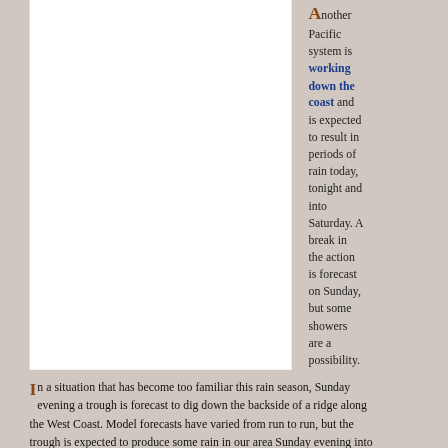Another Pacific system is working down the coast and is expected to result in periods of rain today, tonight and into Saturday. A break in the action is forecast on Sunday, but some showers are a possibility.
In a situation that has become too familiar this rain season, Sunday evening a trough is forecast to dig down the backside of a ridge along the West Coast. Model forecasts have varied from run to run, but the trough is expected to produce some rain in our area Sunday evening into Monday. As we move into the week the Pacific and Mild...